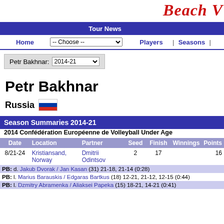Beach V[olleyball]
Tour News | Home | -- Choose -- | Players | Seasons
Petr Bakhnar: 2014-21
Petr Bakhnar
Russia
Season Summaries 2014-21
2014 Confédération Européenne de Volleyball Under Age
| Date | Location | Partner | Seed | Finish | Winnings | Points |
| --- | --- | --- | --- | --- | --- | --- |
| 8/21-24 | Kristiansand, Norway | Dmitrii Odintsov | 2 | 17 |  | 16 |
| PB: | d. Jakub Dvorak / Jan Kasan (31) 21-18, 21-14 (0:28) |  |  |  |  |  |
| PB: | l. Marius Barauskis / Edgaras Bartkus (18) 12-21, 21-12, 12-15 (0:44) |  |  |  |  |  |
| PB: | l. Dzmitry Abramenka / Aliaksei Papeka (15) 18-21, 14-21 (0:41) |  |  |  |  |  |